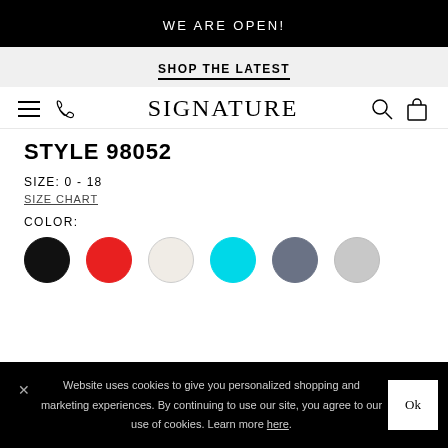WE ARE OPEN!
SHOP THE LATEST
SIGNATURE
STYLE 98052
SIZE: 0 - 18
SIZE CHART
COLOR:
[Figure (other): Six color swatches in circles: black, red, cream/white, cyan, slate/grey-blue, silver/light grey]
Website uses cookies to give you personalized shopping and marketing experiences. By continuing to use our site, you agree to our use of cookies. Learn more here.